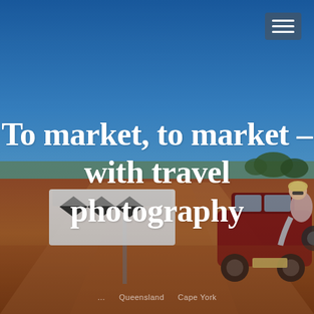[Figure (photo): Outback Australian road scene with a woman sitting on the back of a red SUV/4WD vehicle, with a black and white chevron road sign visible. Red dirt road, sparse scrubland, and deep blue sky. Landscape feels remote and arid.]
To market, to market – with travel photography
... Queensland Cape York